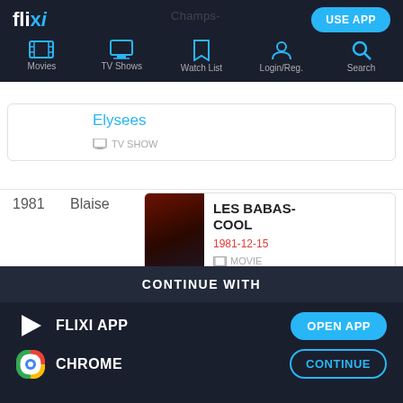flixi — USE APP
[Figure (screenshot): Navigation bar with icons: Movies, TV Shows, Watch List, Login/Reg., Search]
Champs-Elysees — TV SHOW (partial card)
1981   Blaise
[Figure (photo): Movie poster for Les Babas-Cool]
LES BABAS-COOL
1981-12-15
MOVIE
1980   Georges Maréchal
[Figure (photo): Movie poster for The Little]
THE LITTLE
CONTINUE WITH
FLIXI APP — OPEN APP
CHROME — CONTINUE